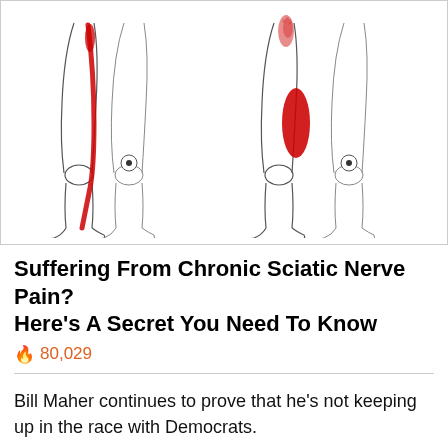[Figure (illustration): Medical illustration showing four pairs of human legs from the side, with red highlighted areas indicating sciatica pain radiating down the leg. Left pair shows pain along the back of the leg from hip to ankle. Right pair shows pain in the upper and mid-thigh area.]
Suffering From Chronic Sciatic Nerve Pain? Here's A Secret You Need To Know
🔥 80,029
Bill Maher continues to prove that he's not keeping up in the race with Democrats.
In his HBO show Real Time Friday, the host discussed